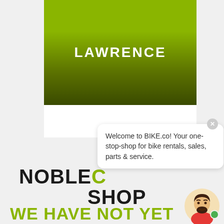[Figure (illustration): Green gradient banner with the text LAWRENCE in white bold uppercase letters centered on it]
Welcome to BIKE.co! Your one-stop-shop for bike rentals, sales, parts & service.
NOBLE... SHOP
WE HAVE NOT YET OPENED THIS OFFICE